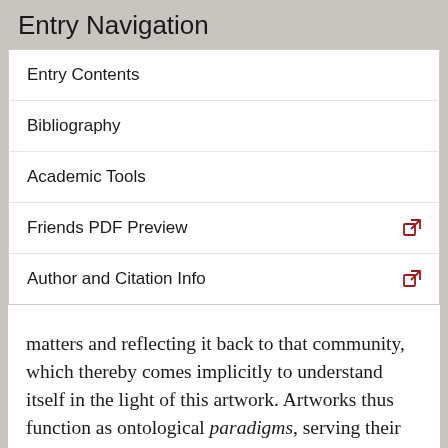Entry Navigation
Entry Contents
Bibliography
Academic Tools
Friends PDF Preview
Author and Citation Info
matters and reflecting it back to that community, which thereby comes implicitly to understand itself in the light of this artwork. Artworks thus function as ontological paradigms, serving their communities both as “models of” and “models for” reality, which means (as Dreyfus nicely puts it) that artworks can variously “manifest,” “articulate,” or even “reconfigure” the historical ontologies undergirding their cultural worlds.[7] Heidegger suggests, in other words, that art can accomplish its world-disclosing work on at least three different orders of magnitude: (1) micro-paradigms he will later calls “things thinging,” which help us become…